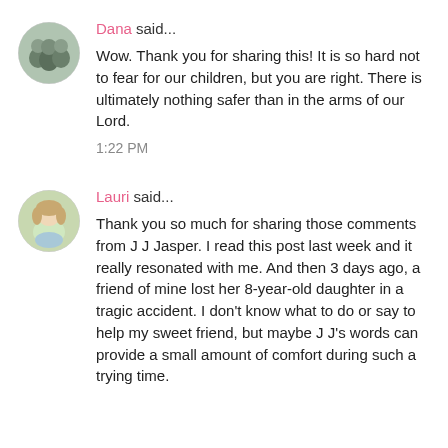Dana said...
Wow. Thank you for sharing this! It is so hard not to fear for our children, but you are right. There is ultimately nothing safer than in the arms of our Lord.
1:22 PM
Lauri said...
Thank you so much for sharing those comments from J J Jasper. I read this post last week and it really resonated with me. And then 3 days ago, a friend of mine lost her 8-year-old daughter in a tragic accident. I don't know what to do or say to help my sweet friend, but maybe J J's words can provide a small amount of comfort during such a trying time.